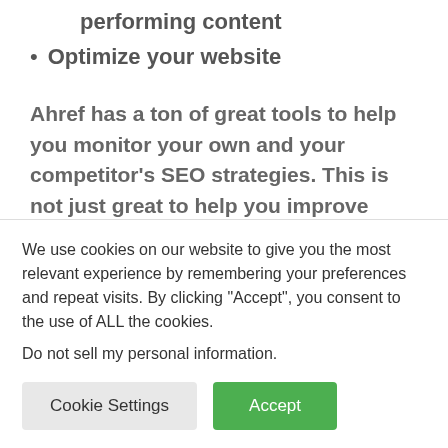performing content
Optimize your website
Ahref has a ton of great tools to help you monitor your own and your competitor's SEO strategies. This is not just great to help you improve your own weaknesses but help you learn other proven strategies your competitors use.
5. Check My Links
We use cookies on our website to give you the most relevant experience by remembering your preferences and repeat visits. By clicking “Accept”, you consent to the use of ALL the cookies.
Do not sell my personal information.